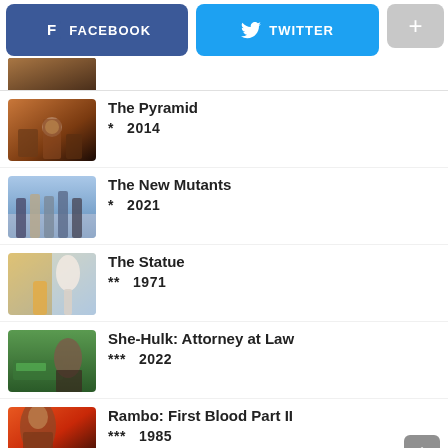FACEBOOK  TWITTER  +
[Figure (screenshot): Partial movie thumbnail at top (cropped)]
[Figure (photo): The Pyramid movie poster thumbnail]
The Pyramid
*  2014
[Figure (photo): The New Mutants movie poster thumbnail]
The New Mutants
*  2021
[Figure (photo): The Statue movie poster thumbnail]
The Statue
**  1971
[Figure (photo): She-Hulk: Attorney at Law movie poster thumbnail]
She-Hulk: Attorney at Law
***  2022
[Figure (photo): Rambo: First Blood Part II movie poster thumbnail]
Rambo: First Blood Part II
***  1985